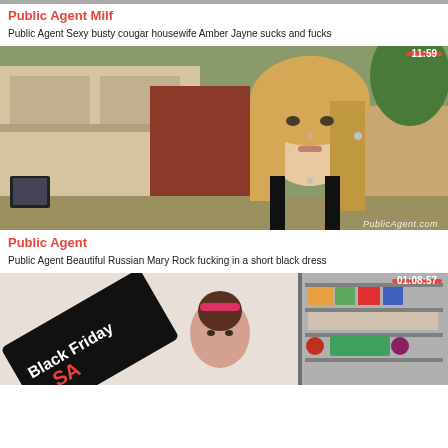[Figure (photo): Partial video thumbnail at top of page (cropped), gray strip]
Public Agent Milf
Public Agent Sexy busty cougar housewife Amber Jayne sucks and fucks
[Figure (photo): Video thumbnail showing young blonde woman in black dress standing on a street with buildings behind her. Duration badge: 11:59. Watermark: PublicAgent.com]
Public Agent
Public Agent Beautiful Russian Mary Rock fucking in a short black dress
[Figure (photo): Video thumbnail showing Black Friday promotional scene with sign and woman. Duration badge: 01:08:57]